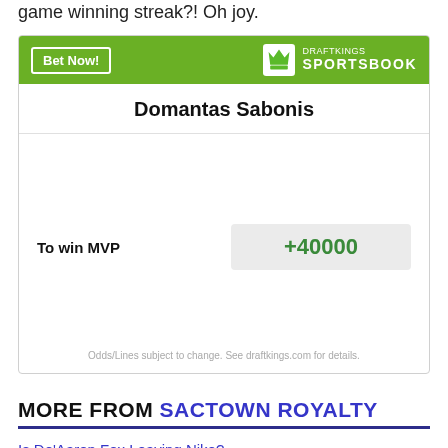game winning streak?! Oh joy.
[Figure (other): DraftKings Sportsbook betting widget showing Domantas Sabonis odds to win MVP at +40000, with green header, Bet Now button, and DraftKings Sportsbook logo.]
MORE FROM SACTOWN ROYALTY
Is De'Aaron Fox Leaving Nike?
The Trump Helicopter Tender Six Months Later...